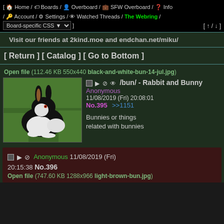[ Home / Boards / Overboard / SFW Overboard / Info / Account / Settings / Watched Threads / The Webring / Board-specific CSS ▼ ] [ ↑ / ↓ ]
Visit our friends at 2kind.moe and endchan.net/miku/
[ Return ] [ Catalog ] [ Go to Bottom ]
Open file (112.46 KB 550x440 black-and-white-bun-14-jul.jpg)
[Figure (photo): Black and white rabbit sitting on green grass]
■ ▶ ⊘ 👁 /bun/ - Rabbit and Bunny Anonymous 11/08/2019 (Fri) 20:08:01 No.395 >>1151
Bunnies or things related with bunnies
■ ▶ ⊘ Anonymous 11/08/2019 (Fri) 20:15:38 No.396
Open file (747.60 KB 1288x966 light-brown-bun.jpg)